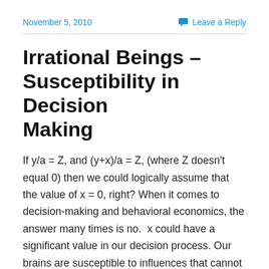November 5, 2010
Leave a Reply
Irrational Beings – Susceptibility in Decision Making
If y/a = Z, and (y+x)/a = Z, (where Z doesn't equal 0) then we could logically assume that the value of x = 0, right? When it comes to decision-making and behavioral economics, the answer many times is no.  x could have a significant value in our decision process. Our brains are susceptible to influences that cannot rationally be explained. In the video below, you will see this in more detail. It is interesting to understand it for the applications